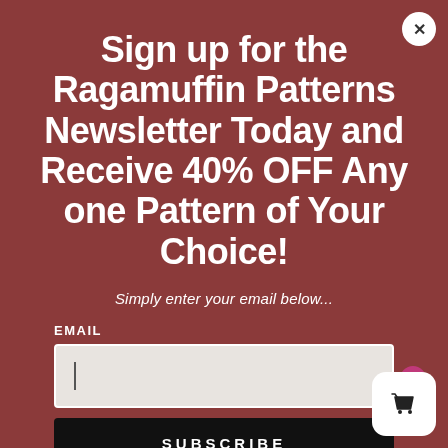Sign up for the Ragamuffin Patterns Newsletter Today and Receive 40% OFF Any one Pattern of Your Choice!
Simply enter your email below...
EMAIL
SUBSCRIBE